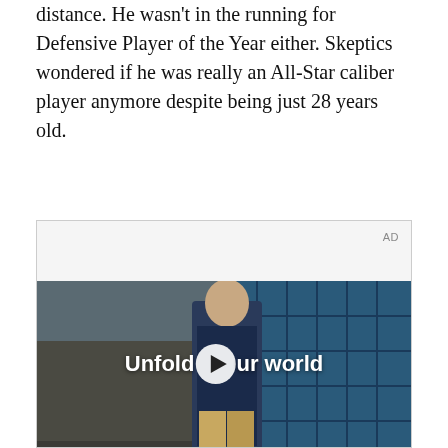distance. He wasn't in the running for Defensive Player of the Year either. Skeptics wondered if he was really an All-Star caliber player anymore despite being just 28 years old.
[Figure (photo): Advertisement video player showing a young man in a denim jacket walking in a cafeteria-style setting with blue tiled windows in the background. Text overlay reads 'Unfold your world' with a play button icon. AD label in top right corner.]